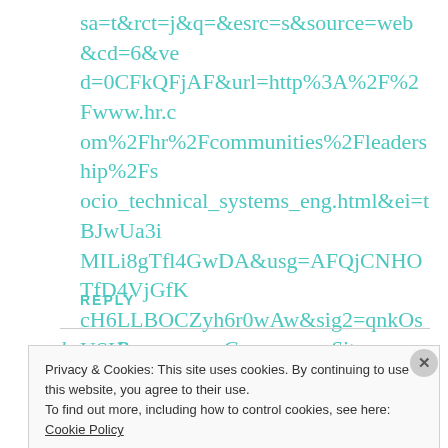sa=t&rct=j&q=&esrc=s&source=web&cd=6&ved=0CFkQFjAF&url=http%3A%2F%2Fwww.hr.com%2Fhr%2Fcommunities%2Fleadership%2Fsocio_technical_systems_eng.html&ei=tBJwUa3iMILi8gTfl4GwDA&usg=AFQjCNHOTfD4VjGfKcH6LLBOCZyh6r0wAw&sig2=qnkOsUSHk-ICmaliv1EggQ&bvm=bv.45368065,d.eWU
REPLY
Privacy & Cookies: This site uses cookies. By continuing to use this website, you agree to their use.
To find out more, including how to control cookies, see here: Cookie Policy
Close and accept